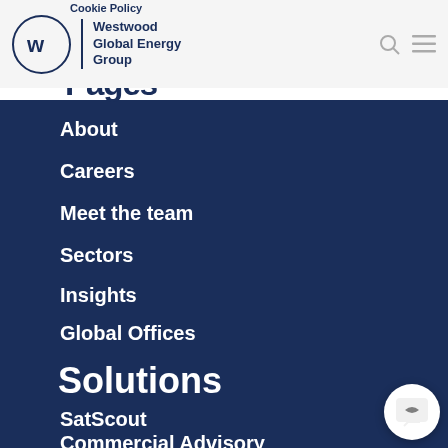Cookie Policy
[Figure (logo): Westwood Global Energy Group logo — circular W emblem with vertical divider and company name text]
Pages
About
Careers
Meet the team
Sectors
Insights
Global Offices
Solutions
SatScout
Commercial Advisory